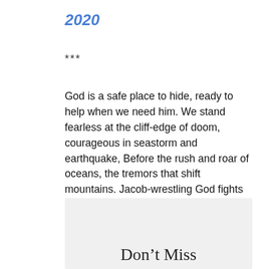2020
***
God is a safe place to hide, ready to help when we need him. We stand fearless at the cliff-edge of doom, courageous in seastorm and earthquake, Before the rush and roar of oceans, the tremors that shift mountains. Jacob-wrestling God fights for us, God-of-Angel-Armies protects us.
Psalm 46:1-3, The Message
Don't Miss